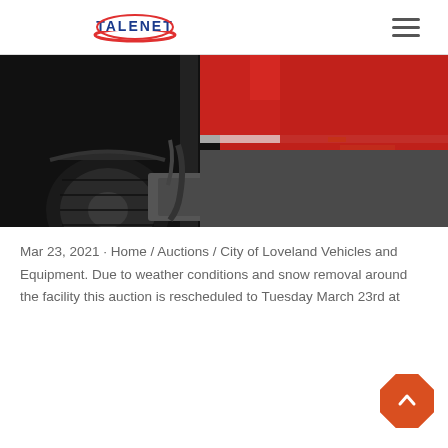TALENET [logo] [hamburger menu]
[Figure (photo): Close-up photo of a red truck cab and chassis, showing large black tire, engine components, and red vehicle body with yellow reflector strip.]
Mar 23, 2021 · Home / Auctions / City of Loveland Vehicles and Equipment. Due to weather conditions and snow removal around the facility this auction is rescheduled to Tuesday March 23rd at